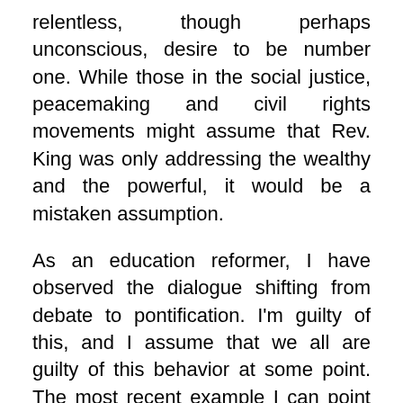relentless, though perhaps unconscious, desire to be number one. While those in the social justice, peacemaking and civil rights movements might assume that Rev. King was only addressing the wealthy and the powerful, it would be a mistaken assumption.
As an education reformer, I have observed the dialogue shifting from debate to pontification. I'm guilty of this, and I assume that we all are guilty of this behavior at some point. The most recent example I can point to is the fierce public debate of the appointment of our new Secretary of Education. At some point, I noticed the message of the movement getting drowned in corrosive political dialogue. I stopped to